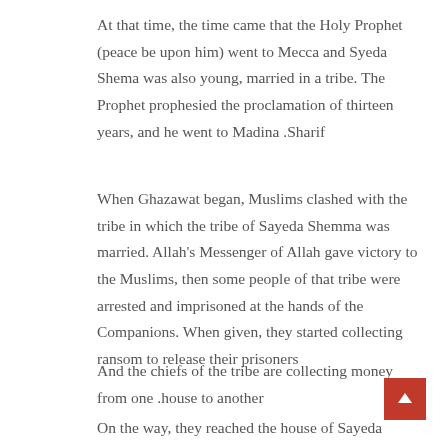At that time, the time came that the Holy Prophet (peace be upon him) went to Mecca and Syeda Shema was also young, married in a tribe. The Prophet prophesied the proclamation of thirteen years, and he went to Madina .Sharif
When Ghazawat began, Muslims clashed with the tribe in which the tribe of Sayeda Shemma was married. Allah's Messenger of Allah gave victory to the Muslims, then some people of that tribe were arrested and imprisoned at the hands of the Companions. When given, they started collecting ransom to release their prisoners
And the chiefs of the tribe are collecting money from one .house to another
On the way, they reached the house of Sayeda Shima, who